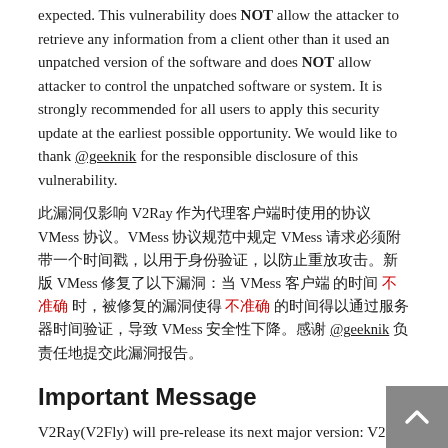expected. This vulnerability does NOT allow the attacker to retrieve any information from a client other than it used an unpatched version of the software and does NOT allow attacker to control the unpatched software or system. It is strongly recommended for all users to apply this security update at the earliest possible opportunity. We would like to thank @geeknik for the responsible disclosure of this vulnerability.
此漏洞仅影响 V2Ray 作为代理客户端时使用的协议 VMess 协议。VMess 协议规范中规定 VMess 请求必须附带一个时间戳，以用于身份验证，以防止重放攻击。新版 V2Ray 修复了以下漏洞：当 VMess 客户端 的时间 不准确 时，被修复的漏洞使得 不准确 的时间得以通过服务器时间验证，导致 VMess 安全性下降。感谢 @geeknik 负责任地提交此漏洞报告。
Important Message
V2Ray(V2Fly) will pre-release its next major version: V2Ray V5. In addition to functionality improvements, it will include a